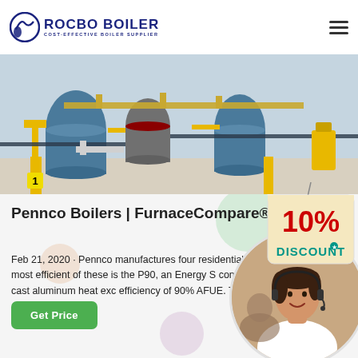[Figure (logo): Rocbo Boiler logo with circular icon and text 'ROCBO BOILER COST-EFFECTIVE BOILER SUPPLIER']
[Figure (photo): Industrial boiler room with yellow and blue equipment, pipes and cylinders]
Pennco Boilers | FurnaceCompare®
[Figure (illustration): 10% DISCOUNT badge in red and teal colors hanging from string]
Feb 21, 2020 · Pennco manufactures four residential gas boilers. The most efficient of these is the P90, an Energy S condensing unit with a cast aluminum heat exc efficiency of 90% AFUE. The company also m
[Figure (photo): Customer service representative woman with headset smiling, circular cropped photo]
Get Price